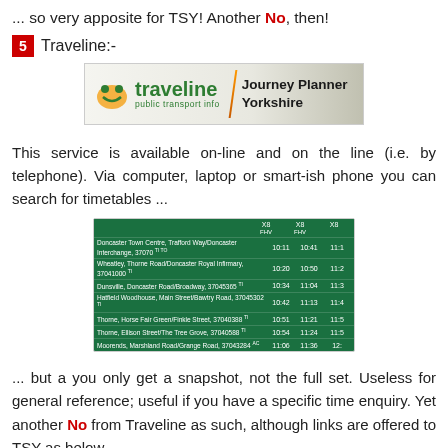... so very apposite for TSY! Another No, then!
5  Traveline:-
[Figure (logo): Traveline Journey Planner Yorkshire logo banner]
This service is available on-line and on the line (i.e. by telephone). Via computer, laptop or smart-ish phone you can search for timetables ...
[Figure (screenshot): Green timetable screenshot showing bus stops and departure times for route X8 from Doncaster Town Centre to Moorends]
... but a you only get a snapshot, not the full set. Useless for general reference; useful if you have a specific time enquiry. Yet another No from Traveline as such, although links are offered to TSY as below.
Timetable details for service 67,68,69 – Doncaster – Kirk Sa
Travelling at 09:00 on 20/01/2015
Valid Monday to Friday
Valid until 24/01/2015